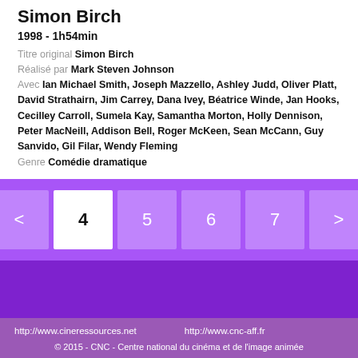Simon Birch
1998 - 1h54min
Titre original Simon Birch
Réalisé par Mark Steven Johnson
Avec Ian Michael Smith, Joseph Mazzello, Ashley Judd, Oliver Platt, David Strathairn, Jim Carrey, Dana Ivey, Béatrice Winde, Jan Hooks, Cecilley Carroll, Sumela Kay, Samantha Morton, Holly Dennison, Peter MacNeill, Addison Bell, Roger McKeen, Sean McCann, Guy Sanvido, Gil Filar, Wendy Fleming
Genre Comédie dramatique
< 4 5 6 7 >
http://www.cineressources.net   http://www.cnc-aff.fr
© 2015 - CNC - Centre national du cinéma et de l'image animée